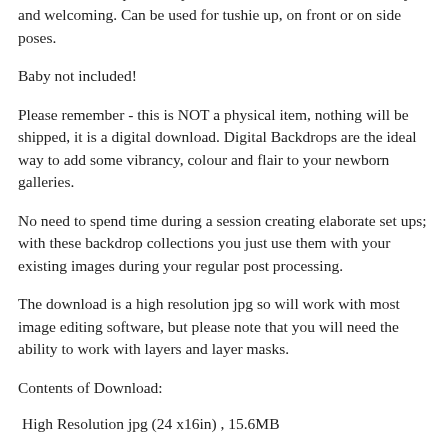textured backdrop in lovely neutral warm tones, so it feels cozy and welcoming. Can be used for tushie up, on front or on side poses.
Baby not included!
Please remember - this is NOT a physical item, nothing will be shipped, it is a digital download. Digital Backdrops are the ideal way to add some vibrancy, colour and flair to your newborn galleries.
No need to spend time during a session creating elaborate set ups; with these backdrop collections you just use them with your existing images during your regular post processing.
The download is a high resolution jpg so will work with most image editing software, but please note that you will need the ability to work with layers and layer masks.
Contents of Download:
High Resolution jpg (24 x16in) , 15.6MB